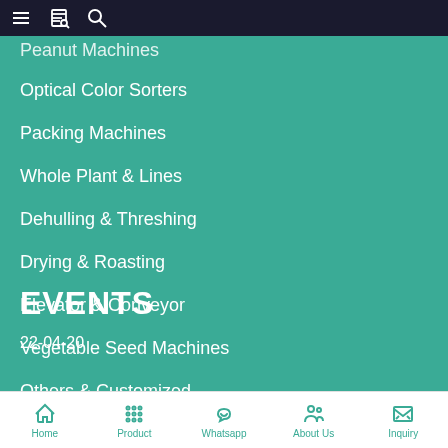Navigation bar with menu, catalog, and search icons
Peanut Machines
Optical Color Sorters
Packing Machines
Whole Plant & Lines
Dehulling & Threshing
Drying & Roasting
Elevator & Conveyor
Vegetable Seed Machines
Others & Customized
EVENTS
22-04-20
Home | Product | Whatsapp | About Us | Inquiry